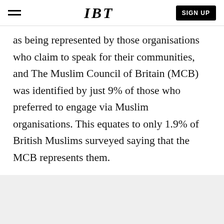IBT | SIGN UP
as being represented by those organisations who claim to speak for their communities, and The Muslim Council of Britain (MCB) was identified by just 9% of those who preferred to engage via Muslim organisations. This equates to only 1.9% of British Muslims surveyed saying that the MCB represents them.